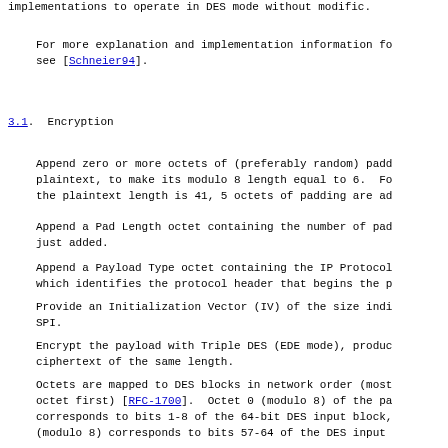implementations to operate in DES mode without modific.
For more explanation and implementation information fo see [Schneier94].
3.1.  Encryption
Append zero or more octets of (preferably random) padd plaintext, to make its modulo 8 length equal to 6.  F the plaintext length is 41, 5 octets of padding are ad
Append a Pad Length octet containing the number of pa just added.
Append a Payload Type octet containing the IP Protoco which identifies the protocol header that begins the p
Provide an Initialization Vector (IV) of the size ind SPI.
Encrypt the payload with Triple DES (EDE mode), produc ciphertext of the same length.
Octets are mapped to DES blocks in network order (mos octet first) [RFC-1700].  Octet 0 (modulo 8) of the pa corresponds to bits 1-8 of the 64-bit DES input block, (modulo 8) corresponds to bits 57-64 of the DES input